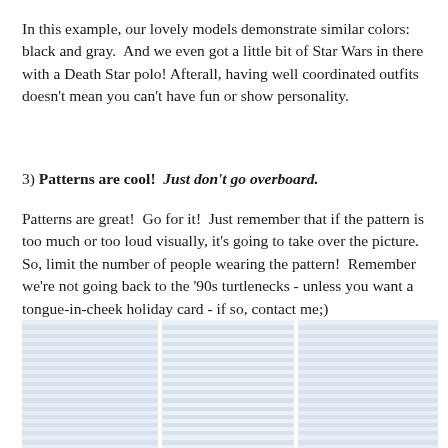In this example, our lovely models demonstrate similar colors: black and gray.  And we even got a little bit of Star Wars in there with a Death Star polo! Afterall, having well coordinated outfits doesn't mean you can't have fun or show personality.
3) Patterns are cool!  Just don't go overboard.
Patterns are great!  Go for it!  Just remember that if the pattern is too much or too loud visually, it's going to take over the picture.  So, limit the number of people wearing the pattern!  Remember we're not going back to the '90s turtlenecks - unless you want a tongue-in-cheek holiday card - if so, contact me;)
[Figure (photo): A blurred/redacted image showing what appears to be people or figures arranged in a horizontal composition, with light blue/gray horizontal stripes or bands visible, divided into three panels.]